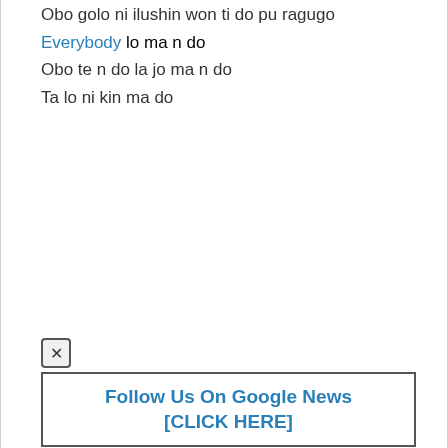Obo golo ni ilushin won ti do pu ragugo
Everybody lo ma n do
Obo te n do la jo ma n do
Ta lo ni kin ma do
[Figure (other): Close/dismiss button with X icon]
Follow Us On Google News [CLICK HERE]